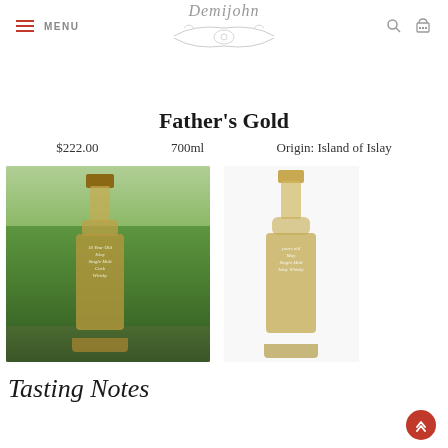MENU | Demijohn logo | Search | Cart
Father's Gold
$222.00    700ml    Origin: Island of Islay
[Figure (photo): Two whisky bottles with handwritten labels. Left bottle: dark amber liquid, photographed outdoors on mossy surface with green landscape background, label reads '10 Year Old Islay Single Malt Cask Whisky'. Right bottle: golden liquid, clean white background, label reads 'Years Old May Single Malt Islay Whisky'.]
Tasting Notes